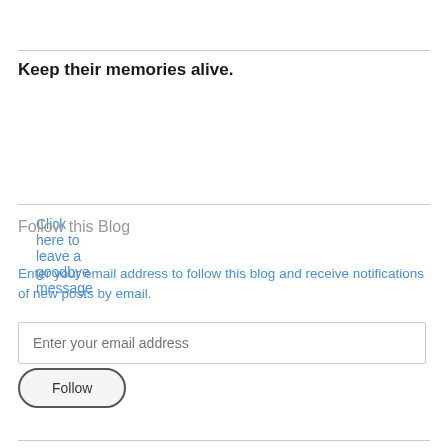Keep their memories alive.
Click here to leave a goodbye message
Follow this Blog
Enter your email address to follow this blog and receive notifications of new posts by email.
Enter your email address
Follow
Join 4,268 other followers